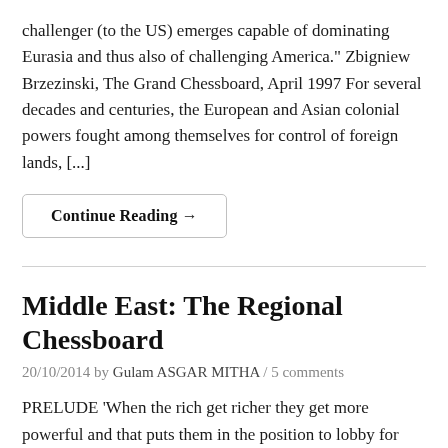challenger (to the US) emerges capable of dominating Eurasia and thus also of challenging America." Zbigniew Brzezinski, The Grand Chessboard, April 1997 For several decades and centuries, the European and Asian colonial powers fought among themselves for control of foreign lands, [...]
Continue Reading →
Middle East: The Regional Chessboard
20/10/2014 by Gulam ASGAR MITHA / 5 comments
PRELUDE 'When the rich get richer they get more powerful and that puts them in the position to lobby for policies that